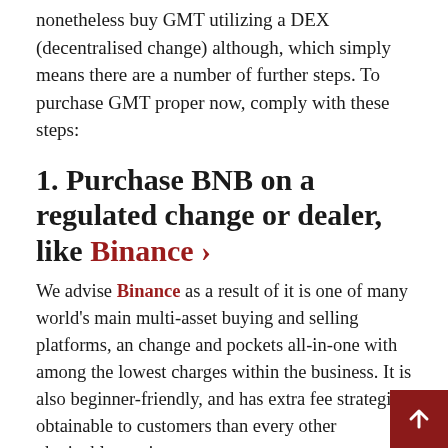nonetheless buy GMT utilizing a DEX (decentralised change) although, which simply means there are a number of further steps. To purchase GMT proper now, comply with these steps:
1. Purchase BNB on a regulated change or dealer, like Binance ›
We advise Binance as a result of it is one of many world's main multi-asset buying and selling platforms, an change and pockets all-in-one with among the lowest charges within the business. It is also beginner-friendly, and has extra fee strategies obtainable to customers than every other obtainable service.
2. Ship your BNB to a suitable pockets like Belief Pockets or